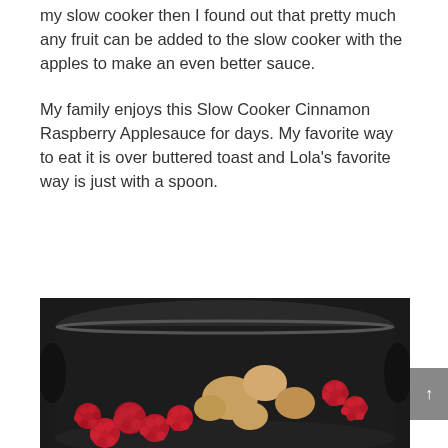my slow cooker then I found out that pretty much any fruit can be added to the slow cooker with the apples to make an even better sauce.
My family enjoys this Slow Cooker Cinnamon Raspberry Applesauce for days. My favorite way to eat it is over buttered toast and Lola's favorite way is just with a spoon.
[Figure (photo): A black slow cooker pot filled with raspberries and chunks of apple, viewed from above.]